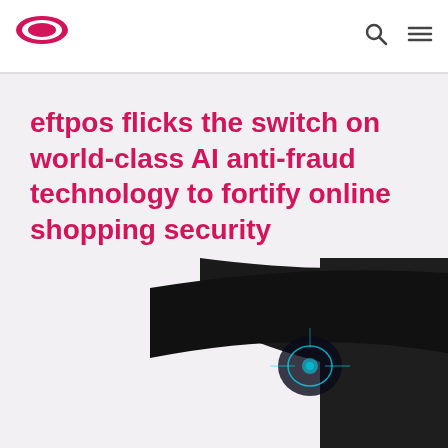eftpos logo, search icon, menu icon
eftpos flicks the switch on world-class AI anti-fraud technology to fortify online shopping security
[Figure (illustration): Dark background hero image showing a stylized AI/technology graphic with a glowing blue brain/circuit icon, with a large dark curved swoosh shape dominating the upper portion of the image]